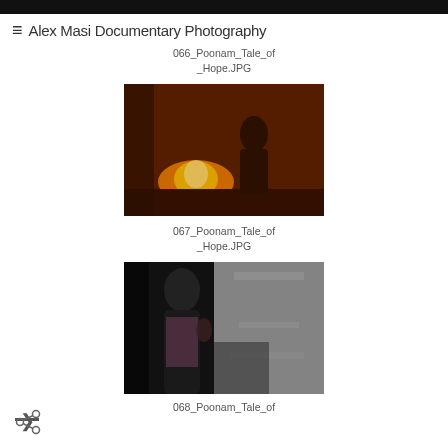≡ Alex Masi Documentary Photography
066_Poonam_Tale_of
_Hope.JPG
[Figure (photo): Documentary photograph showing a woman cooking over a fire in a dark room with warm orange tones - 067_Poonam_Tale_of_Hope.JPG]
067_Poonam_Tale_of
_Hope.JPG
[Figure (photo): Documentary photograph showing a young woman standing near a doorway in a dark environment - 068_Poonam_Tale_of_Hope.JPG]
068_Poonam_Tale_of